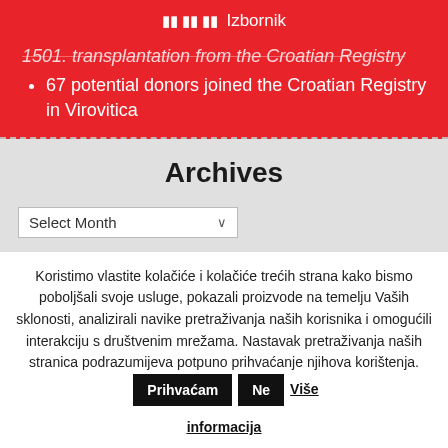Izbornik
1501. transplantation from the Croatian Registry
67 potential donors joined the Croatian Registry in Virovitica
Archives
Select Month
Koristimo vlastite kolačiće i kolačiće trećih strana kako bismo poboljšali svoje usluge, pokazali proizvode na temelju Vaših sklonosti, analizirali navike pretraživanja naših korisnika i omogućili interakciju s društvenim mrežama. Nastavak pretraživanja naših stranica podrazumijeva potpuno prihvaćanje njihova korištenja. Prihvaćam Ne Više informacija